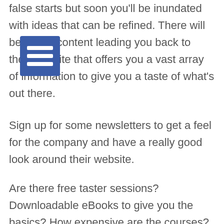false starts but soon you'll be inundated with ideas that can be refined. There will be lots of content leading you back to their website that offers you a vast array of information to give you a taste of what's out there.
Sign up for some newsletters to get a feel for the company and have a really good look around their website.
Are there free taster sessions? Downloadable eBooks to give you the basics? How expensive are the courses? Can you attend a webinar to see first